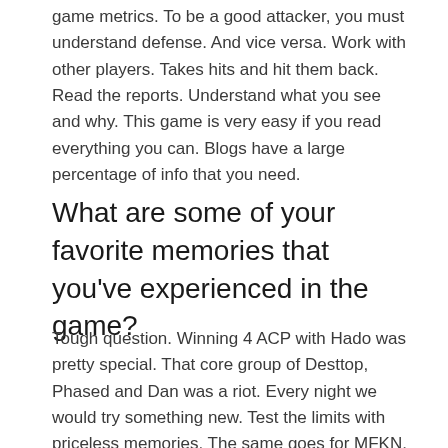game metrics. To be a good attacker, you must understand defense. And vice versa. Work with other players. Takes hits and hit them back. Read the reports. Understand what you see and why. This game is very easy if you read everything you can. Blogs have a large percentage of info that you need.
What are some of your favorite memories that you've experienced in the game?
Tough question. Winning 4 ACP with Hado was pretty special. That core group of Desttop, Phased and Dan was a riot. Every night we would try something new. Test the limits with priceless memories. The same goes for MFKN. Ruthless killers there testing limits daily. One of my fav moments is prison parties. When